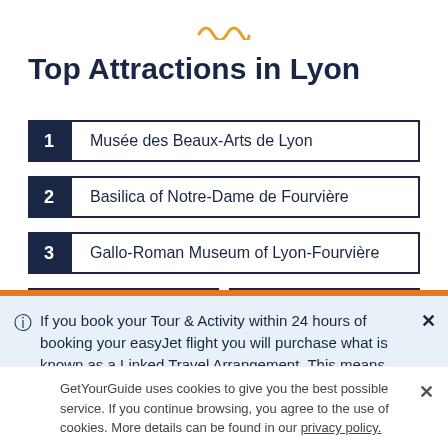[Figure (illustration): Yellow/gold decorative squiggle/wave icon at the top center]
Top Attractions in Lyon
1 Musée des Beaux-Arts de Lyon
2 Basilica of Notre-Dame de Fourvière
3 Gallo-Roman Museum of Lyon-Fourvière
4 Presqu'île
5 Lyon-Saint Exupéry Airport
If you book your Tour & Activity within 24 hours of booking your easyJet flight you will purchase what is known as a Linked Travel Arrangement. This means
GetYourGuide uses cookies to give you the best possible service. If you continue browsing, you agree to the use of cookies. More details can be found in our privacy policy.